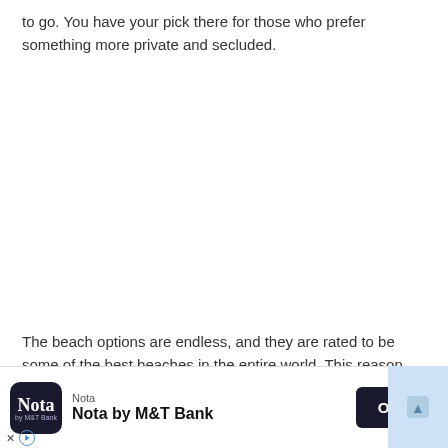to go. You have your pick there for those who prefer something more private and secluded.
The beach options are endless, and they are rated to be some of the best beaches in the entire world. This reason alone is why you should visit Greece for your next vacation.
[Figure (other): Advertisement banner for Nota by M&T Bank with Open button]